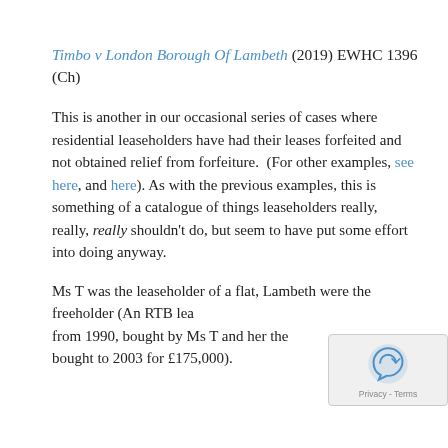Timbo v London Borough Of Lambeth (2019) EWHC 1396 (Ch)
This is another in our occasional series of cases where residential leaseholders have had their leases forfeited and not obtained relief from forfeiture.  (For other examples, see here, and here). As with the previous examples, this is something of a catalogue of things leaseholders really, really, really shouldn't do, but seem to have put some effort into doing anyway.
Ms T was the leaseholder of a flat, Lambeth were the freeholder (An RTB lea... from 1990, bought by Ms T and her ther... ...bought in 2003 for £175,000).